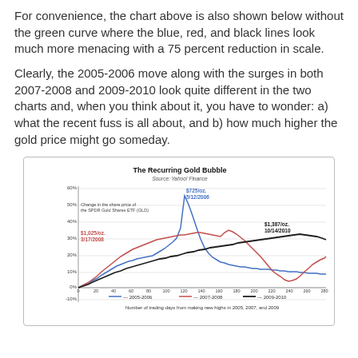For convenience, the chart above is also shown below without the green curve where the blue, red, and black lines look much more menacing with a 75 percent reduction in scale.
Clearly, the 2005-2006 move along with the surges in both 2007-2008 and 2009-2010 look quite different in the two charts and, when you think about it, you have to wonder: a) what the recent fuss is all about, and b) how much higher the gold price might go someday.
[Figure (line-chart): The Recurring Gold Bubble]